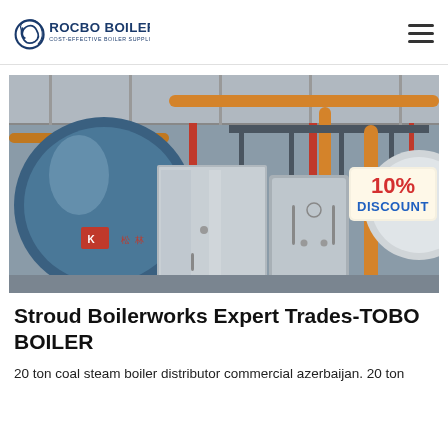[Figure (logo): Rocbo Boiler logo with circular swirl icon, text 'ROCBO BOILER' in dark blue bold and 'COST-EFFECTIVE BOILER SUPPLIER' in smaller text]
[Figure (photo): Industrial boiler room showing large cylindrical steam boilers in blue and stainless steel, with orange pipes overhead, red piping visible, and a '10% DISCOUNT' badge in the upper right corner]
Stroud Boilerworks Expert Trades-TOBO BOILER
20 ton coal steam boiler distributor commercial azerbaijan. 20 ton